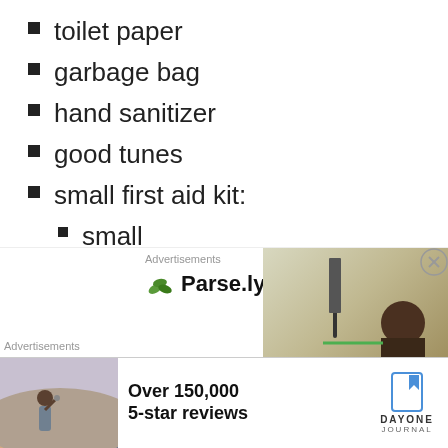toilet paper
garbage bag
hand sanitizer
good tunes
small first aid kit:
small
gauze
bandaids
polysporin
advil/tylonal
[Figure (other): Advertisement area with Parse.ly logo and background image of person looking at scenery]
[Figure (other): Advertisement banner: Day One Journal app - Over 150,000 5-star reviews]